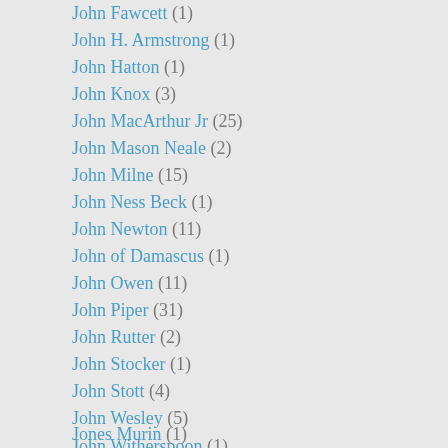John Fawcett (1)
John H. Armstrong (1)
John Hatton (1)
John Knox (3)
John MacArthur Jr (25)
John Mason Neale (2)
John Milne (15)
John Ness Beck (1)
John Newton (11)
John of Damascus (1)
John Owen (11)
John Piper (31)
John Rutter (2)
John Stocker (1)
John Stott (4)
John Wesley (5)
John Witherspoon (1)
John Wycliffe (1)
Jon Althoff (5)
Jon Underhill (1)
Jones Murin (1)